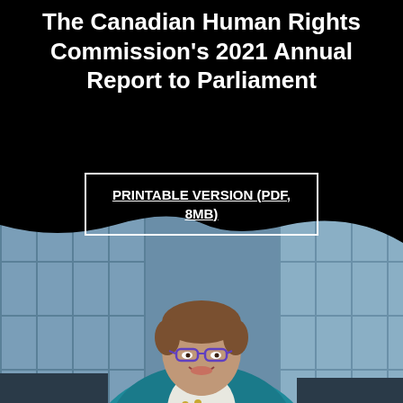The Canadian Human Rights Commission's 2021 Annual Report to Parliament
PRINTABLE VERSION (PDF, 8MB)
[Figure (photo): Portrait photograph of a woman with short brown hair, blue-framed glasses, wearing a teal/blue blazer with pearl necklace, smiling, photographed in an office or professional setting with large windows visible in the background.]